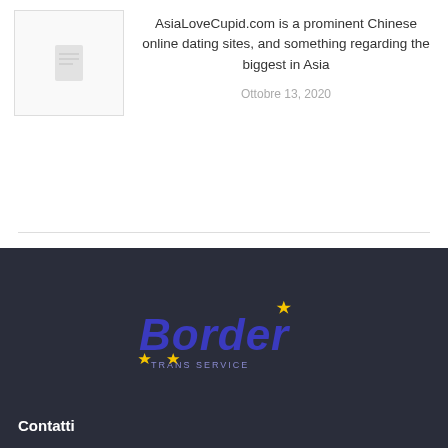[Figure (illustration): Thumbnail placeholder with document icon]
AsiaLoveCupid.com is a prominent Chinese online dating sites, and something regarding the biggest in Asia
Ottobre 13, 2020
[Figure (logo): Border Trans Service logo with blue text and yellow stars]
Contatti